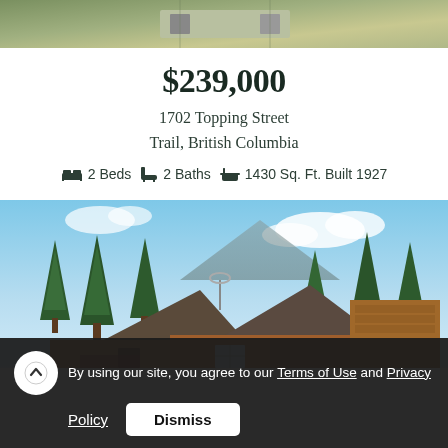[Figure (photo): Aerial/top-down photo of a street or property, partially visible at top of page]
$239,000
1702 Topping Street
Trail, British Columbia
2 Beds  2 Baths  1430 Sq. Ft. Built 1927
[Figure (photo): Photo of a log/wood cabin house surrounded by tall evergreen trees with mountains and blue sky in background]
By using our site, you agree to our Terms of Use and Privacy Policy
Dismiss